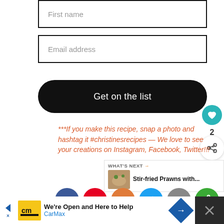[Figure (screenshot): Form input field with placeholder text 'First name']
[Figure (screenshot): Form input field with placeholder text 'Email address']
[Figure (screenshot): Black pill-shaped button with text 'Get on the list']
***If you make this recipe, snap a photo and hashtag it #christinesrecipes — We love to see your creations on Instagram, Facebook, Twitter!!!
[Figure (infographic): Row of social sharing icons: Facebook, Pinterest, Yummly, Twitter, Email, Other]
[Figure (screenshot): Advertisement banner: CarMax 'We're Open and Here to Help']